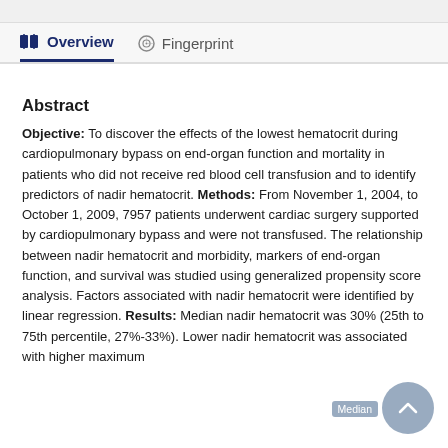Overview   Fingerprint
Abstract
Objective: To discover the effects of the lowest hematocrit during cardiopulmonary bypass on end-organ function and mortality in patients who did not receive red blood cell transfusion and to identify predictors of nadir hematocrit. Methods: From November 1, 2004, to October 1, 2009, 7957 patients underwent cardiac surgery supported by cardiopulmonary bypass and were not transfused. The relationship between nadir hematocrit and morbidity, markers of end-organ function, and survival was studied using generalized propensity score analysis. Factors associated with nadir hematocrit were identified by linear regression. Results: Median nadir hematocrit was 30% (25th to 75th percentile, 27%-33%). Lower nadir hematocrit was associated with higher maximum